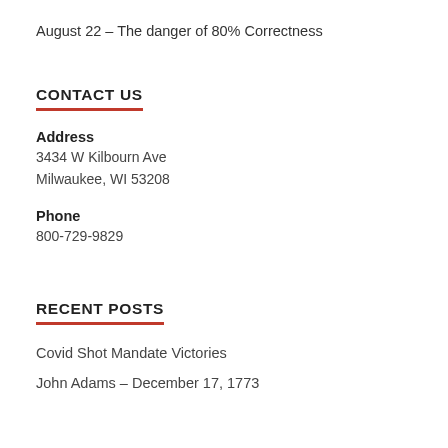August 22 – The danger of 80% Correctness
CONTACT US
Address
3434 W Kilbourn Ave
Milwaukee, WI 53208
Phone
800-729-9829
RECENT POSTS
Covid Shot Mandate Victories
John Adams – December 17, 1773